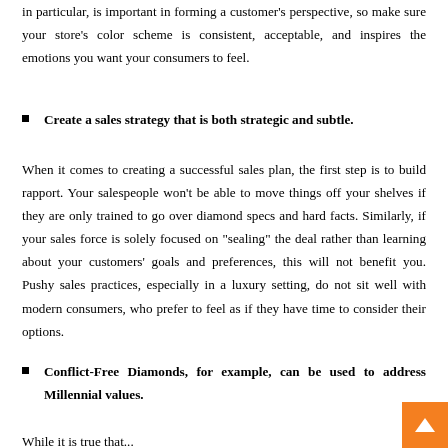in particular, is important in forming a customer's perspective, so make sure your store's color scheme is consistent, acceptable, and inspires the emotions you want your consumers to feel.
Create a sales strategy that is both strategic and subtle.
When it comes to creating a successful sales plan, the first step is to build rapport. Your salespeople won't be able to move things off your shelves if they are only trained to go over diamond specs and hard facts. Similarly, if your sales force is solely focused on "sealing" the deal rather than learning about your customers' goals and preferences, this will not benefit you. Pushy sales practices, especially in a luxury setting, do not sit well with modern consumers, who prefer to feel as if they have time to consider their options.
Conflict-Free Diamonds, for example, can be used to address Millennial values.
While it is true that...